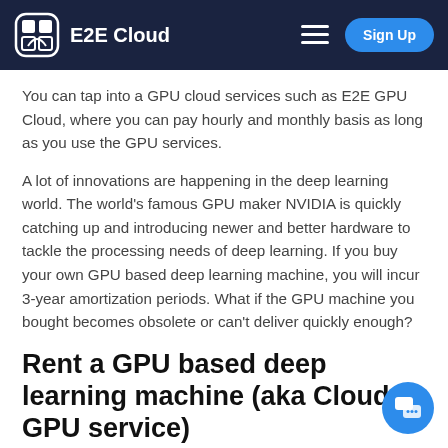E2E Cloud
You can tap into a GPU cloud services such as E2E GPU Cloud, where you can pay hourly and monthly basis as long as you use the GPU services.
A lot of innovations are happening in the deep learning world. The world's famous GPU maker NVIDIA is quickly catching up and introducing newer and better hardware to tackle the processing needs of deep learning. If you buy your own GPU based deep learning machine, you will incur 3-year amortization periods. What if the GPU machine you bought becomes obsolete or can't deliver quickly enough?
Rent a GPU based deep learning machine (aka Cloud GPU service)
Cloud GPU services like E2E GPU Cloud are agile to the innovation and developments in the deep learning space. If